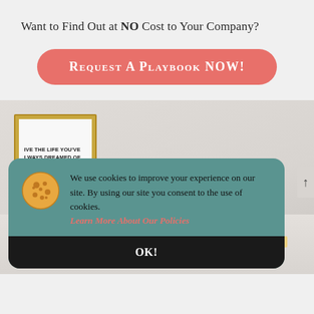Want to Find Out at NO Cost to Your Company?
Request A Playbook NOW!
[Figure (photo): Office desk scene with a motivational framed poster, a gold desk lamp, and glasses on a pink book. Photo used as decorative background.]
We use cookies to improve your experience on our site. By using our site you consent to the use of cookies. Learn More About Our Policies
OK!